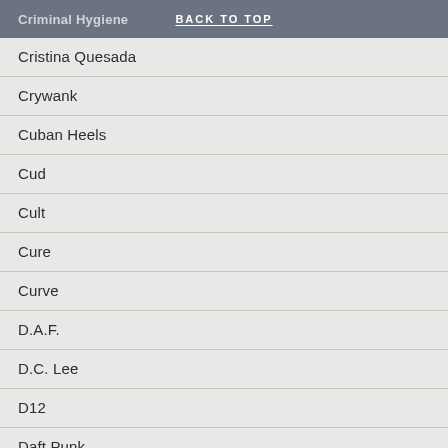Criminal Hygiene  BACK TO TOP
Cristina Quesada
Crywank
Cuban Heels
Cud
Cult
Cure
Curve
D.A.F.
D.C. Lee
D12
Daft Punk
Daintees